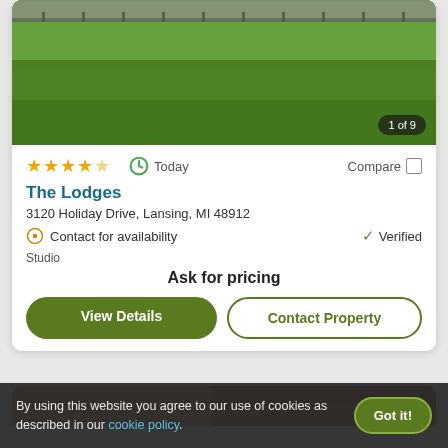[Figure (photo): Exterior photo of The Lodges apartment property showing a green lawn area with a fence and building in the background. Badge shows '1 of 9'.]
★★★★★ (4-4.5 stars) | Today | Compare
The Lodges
3120 Holiday Drive, Lansing, MI 48912
Contact for availability   ✓ Verified
Studio
Ask for pricing
View Details | Contact Property
By using this website you agree to our use of cookies as described in our cookie policy.